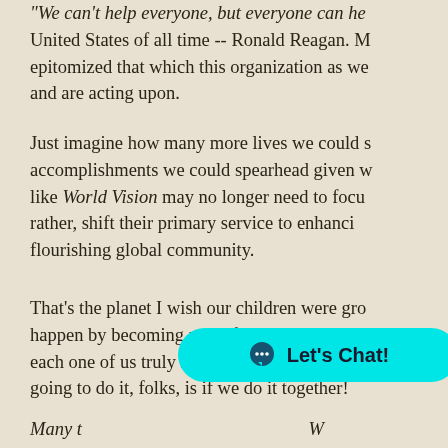“We can’t help everyone, but everyone can he United States of all time -- Ronald Reagan. M epitomized that which this organization as we and are acting upon.
Just imagine how many more lives we could s accomplishments we could spearhead given w like World Vision may no longer need to focu rather, shift their primary service to enhanci flourishing global community.
That’s the planet I wish our children were gro happen by becoming part of World Vision -- b each one of us truly needs to assume...for the going to do it, folks, is if we do it together!
Many t W